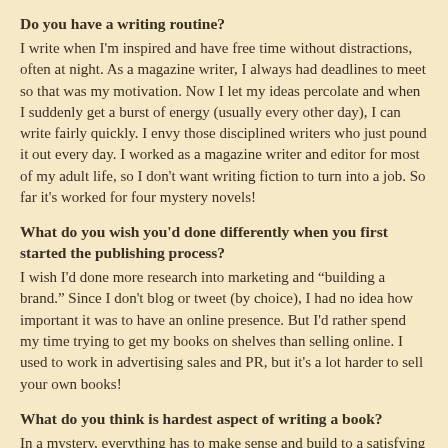Do you have a writing routine?
I write when I'm inspired and have free time without distractions, often at night.  As a magazine writer, I always had deadlines to meet so that was my motivation.  Now I let my ideas percolate and when I suddenly get a burst of energy (usually every other day), I can write fairly quickly. I envy those disciplined writers who just pound it out every day. I worked as a magazine writer and editor for most of my adult life, so I don't want writing fiction to turn into a job. So far it's worked for four mystery novels!
What do you wish you'd done differently when you first started the publishing process?
I wish I'd done more research into marketing and “building a brand.”  Since I don't blog or tweet (by choice), I had no idea how important it was to have an online presence.  But I'd rather spend my time trying to get my books on shelves than selling online.  I used to work in advertising sales and PR, but it's a lot harder to sell your own books!
What do you think is hardest aspect of writing a book?
In a mystery, everything has to make sense and build to a satisfying yet logical conclusion. What’s difficult is keeping readers in